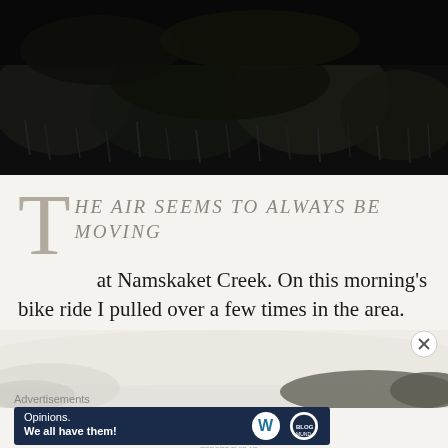[Figure (photo): Dark, moody black and white photograph of dense vegetation, grasses and shrubs against a dark background — top of page]
THE AIR SEEMS TO ALWAYS BE MOVING at Namskaket Creek. On this morning's bike ride I pulled over a few times in the area. Fog seemed to wall up in the distance but the East/West corridor was clear above the creek.
[Figure (photo): Foggy, misty black and white landscape photograph showing mist and trees in the distance — partial view at bottom of page]
Advertisements
[Figure (other): Advertisement banner: dark navy blue background with text 'Opinions. We all have them!' and WordPress logo and a circular badge logo on the right]